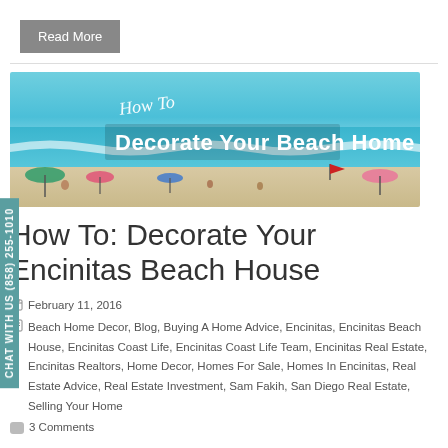Read More
[Figure (photo): Beach scene banner with text overlay reading 'How To Decorate Your Beach Home' — ocean waves, blue sky, beach umbrellas, and people on sand]
How To: Decorate Your Encinitas Beach House
February 11, 2016
Beach Home Decor, Blog, Buying A Home Advice, Encinitas, Encinitas Beach House, Encinitas Coast Life, Encinitas Coast Life Team, Encinitas Real Estate, Encinitas Realtors, Home Decor, Homes For Sale, Homes In Encinitas, Real Estate Advice, Real Estate Investment, Sam Fakih, San Diego Real Estate, Selling Your Home
3 Comments